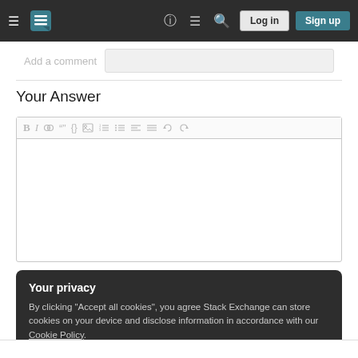Stack Exchange navigation bar with Log in and Sign up buttons
Add a comment
Your Answer
[Figure (screenshot): Rich text editor toolbar with Bold, Italic, Link, Quote, Code, Image, Ordered list, Unordered list, Align left, Align justify, Undo, Redo icons]
Your privacy
By clicking "Accept all cookies", you agree Stack Exchange can store cookies on your device and disclose information in accordance with our Cookie Policy.
Accept all cookies
Customize settings